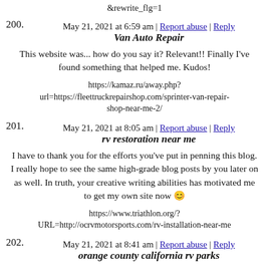&rewrite_flg=1
May 21, 2021 at 6:59 am | Report abuse | Reply
200. Van Auto Repair
This website was... how do you say it? Relevant!! Finally I've found something that helped me. Kudos!
https://kamaz.ru/away.php?url=https://fleettruckrepairshop.com/sprinter-van-repair-shop-near-me-2/
May 21, 2021 at 8:05 am | Report abuse | Reply
201. rv restoration near me
I have to thank you for the efforts you've put in penning this blog. I really hope to see the same high-grade blog posts by you later on as well. In truth, your creative writing abilities has motivated me to get my own site now 😉
https://www.triathlon.org/?URL=http://ocrvmotorsports.com/rv-installation-near-me
May 21, 2021 at 8:41 am | Report abuse | Reply
202. orange county california rv parks